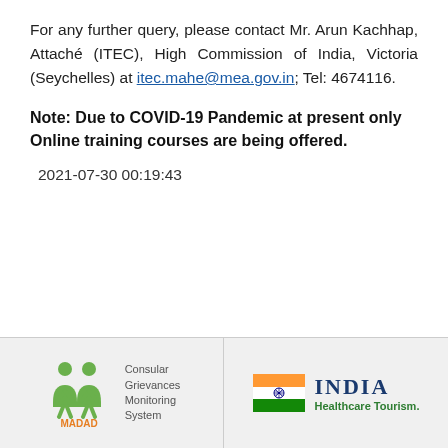For any further query, please contact Mr. Arun Kachhap, Attaché (ITEC), High Commission of India, Victoria (Seychelles) at itec.mahe@mea.gov.in; Tel: 4674116.
Note: Due to COVID-19 Pandemic at present only Online training courses are being offered.
2021-07-30 00:19:43
[Figure (logo): MADAD - Consular Grievances Monitoring System logo with green figures]
[Figure (logo): India Healthcare Tourism logo with Indian flag colors]